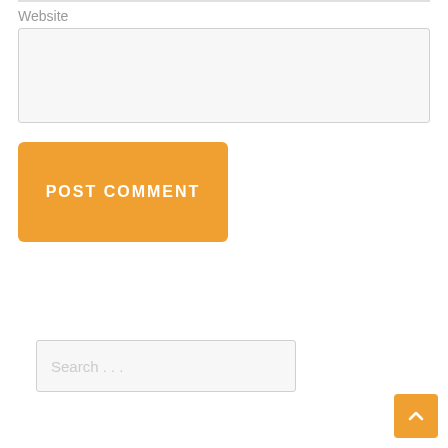Website
[Figure (screenshot): Empty website text input field with light gray background]
POST COMMENT
[Figure (screenshot): Search input field with placeholder text 'Search ...']
[Figure (other): Back to top arrow button, orange background with upward chevron]